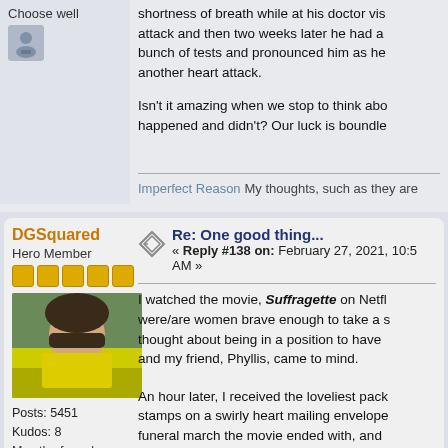Choose well
shortness of breath while at his doctor vis... attack and then two weeks later he had a... bunch of tests and pronounced him as he... another heart attack.

Isn't it amazing when we stop to think abo... happened and didn't? Our luck is boundle...
Imperfect Reason My thoughts, such as they are
DGSquared
Hero Member
Posts: 5451
Kudos: 8
May the farce be with you.
Re: One good thing...
« Reply #138 on: February 27, 2021, 10:5... AM »
I watched the movie, Suffragette on Netfl... were/are women brave enough to take a s... thought about being in a position to have... and my friend, Phyllis, came to mind.

An hour later, I received the loveliest pack... stamps on a swirly heart mailing envelope... funeral march the movie ended with, and... vote into what was at the time, mainstrear...